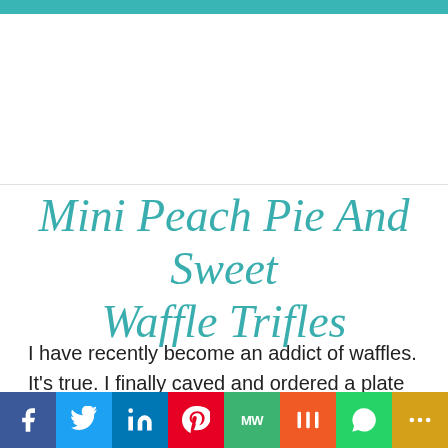[Figure (other): Teal header bar at top of page]
[Figure (photo): White/blank image placeholder area below teal bar]
Mini Peach Pie And Sweet Waffle Trifles
I have recently become an addict of waffles. It's true. I finally caved and ordered a plate of Chicken and Waffles in Washington, DC a few weeks ago, and since that moment, I've been a
[Figure (infographic): Social media sharing bar with icons for Facebook, Twitter, LinkedIn, Pinterest, MeWe, Mix, WhatsApp, and More]